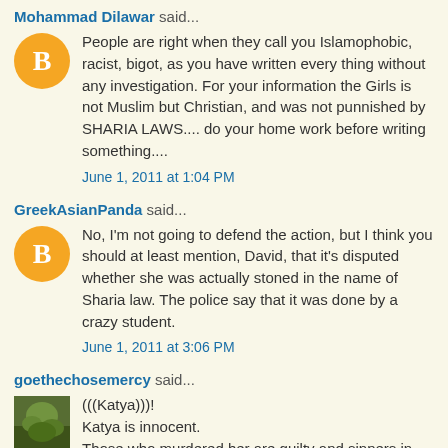Mohammad Dilawar said...
People are right when they call you Islamophobic, racist, bigot, as you have written every thing without any investigation. For your information the Girls is not Muslim but Christian, and was not punnished by SHARIA LAWS.... do your home work before writing something....
June 1, 2011 at 1:04 PM
GreekAsianPanda said...
No, I'm not going to defend the action, but I think you should at least mention, David, that it's disputed whether she was actually stoned in the name of Sharia law. The police say that it was done by a crazy student.
June 1, 2011 at 3:06 PM
goethechosemercy said...
(((Katya)))!
Katya is innocent.
Those who murdered her are guilty and sinners in the eyes of God.